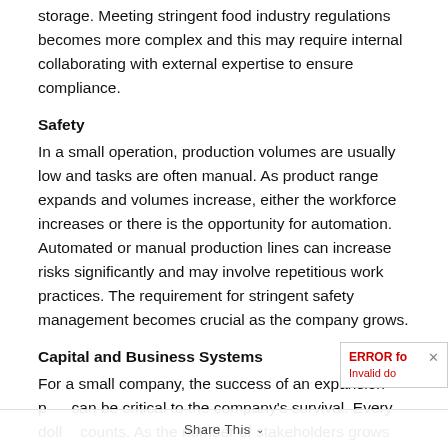storage. Meeting stringent food industry regulations becomes more complex and this may require internal collaborating with external expertise to ensure compliance.
Safety
In a small operation, production volumes are usually low and tasks are often manual. As product range expands and volumes increase, either the workforce increases or there is the opportunity for automation. Automated or manual production lines can increase risks significantly and may involve repetitious work practices. The requirement for stringent safety management becomes crucial as the company grows.
Capital and Business Systems
For a small company, the success of an expansion p can be critical to the company's survival. Every doll counts. As the number of stakeholders grows...